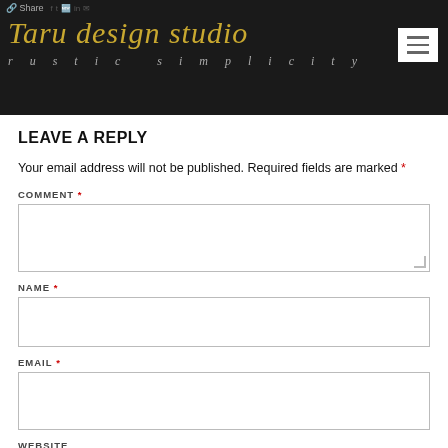Taru design studio — rustic simplicity
LEAVE A REPLY
Your email address will not be published. Required fields are marked *
COMMENT *
NAME *
EMAIL *
WEBSITE